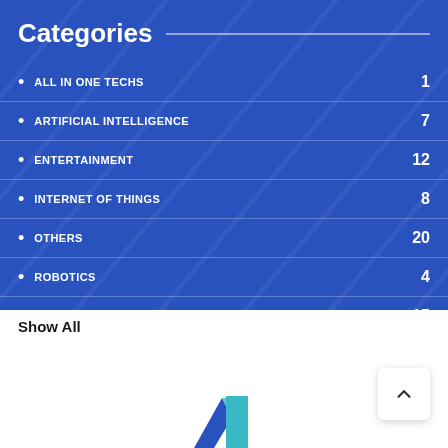Categories
ALL IN ONE TECHS — 1
ARTIFICIAL INTELLIGENCE — 7
ENTERTAINMENT — 12
INTERNET OF THINGS — 8
OTHERS — 20
ROBOTICS — 4
SOFTWARES — 15
Show All
[Figure (logo): Blue and teal angular logo mark at bottom center of page]